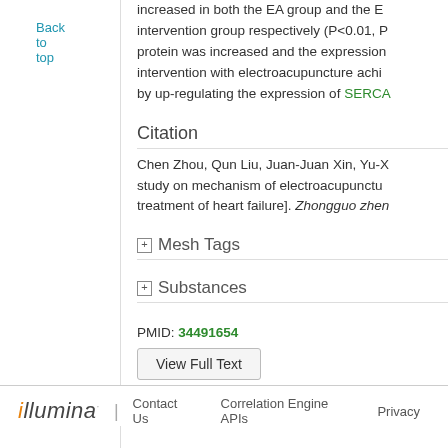Back to top
increased in both the EA group and the E... intervention group respectively (P<0.01, P... protein was increased and the expression... intervention with electroacupuncture achi... by up-regulating the expression of SERCA
Citation
Chen Zhou, Qun Liu, Juan-Juan Xin, Yu-X... study on mechanism of electroacupunctu... treatment of heart failure]. Zhongguo zhen
Mesh Tags
Substances
PMID: 34491654
View Full Text
illumina | Contact Us | Correlation Engine APIs | Privacy